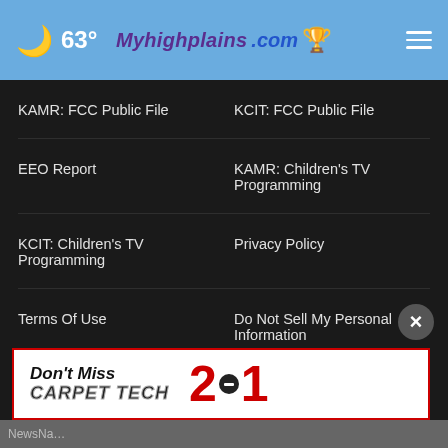🌙 63° Myhighplains.com ☰
KAMR: FCC Public File
KCIT: FCC Public File
EEO Report
KAMR: Children's TV Programming
KCIT: Children's TV Programming
Privacy Policy
Terms Of Use
Do Not Sell My Personal Information
FCC Applications
Public File Assistance Contact
The Hill
[Figure (screenshot): Advertisement banner for Carpet Tech 2-1 with red border on white background]
NewsNa…